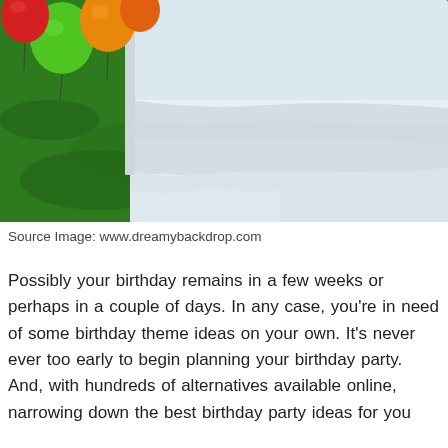[Figure (photo): Outdoor birthday party scene showing a table covered with a white tablecloth on bright green grass, with colorful balloons (green, orange, red) visible in the upper left corner.]
Source Image: www.dreamybackdrop.com
Possibly your birthday remains in a few weeks or perhaps in a couple of days. In any case, you're in need of some birthday theme ideas on your own. It's never ever too early to begin planning your birthday party. And, with hundreds of alternatives available online, narrowing down the best birthday party ideas for you